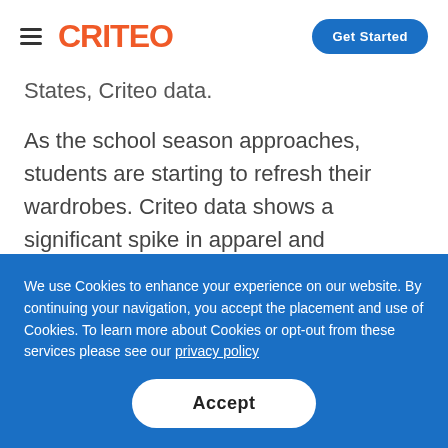CRITEO | Get Started
States, Criteo data.
As the school season approaches, students are starting to refresh their wardrobes. Criteo data shows a significant spike in apparel and accessories. Handbags and shoes are top of
We use Cookies to enhance your experience on our website. By continuing your navigation, you accept the placement and use of Cookies. To learn more about Cookies or opt-out from these services please see our privacy policy
Accept